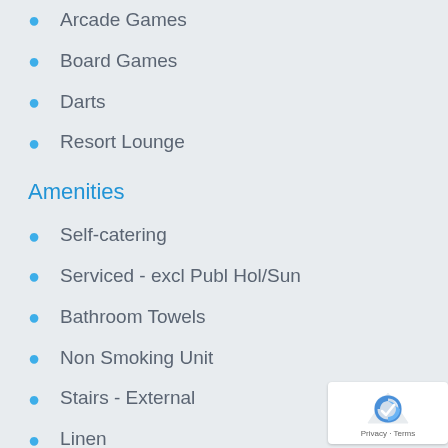Arcade Games
Board Games
Darts
Resort Lounge
Amenities
Self-catering
Serviced - excl Publ Hol/Sun
Bathroom Towels
Non Smoking Unit
Stairs - External
Linen
Ceiling Fan
DSTV - Selection
Lockup Safe